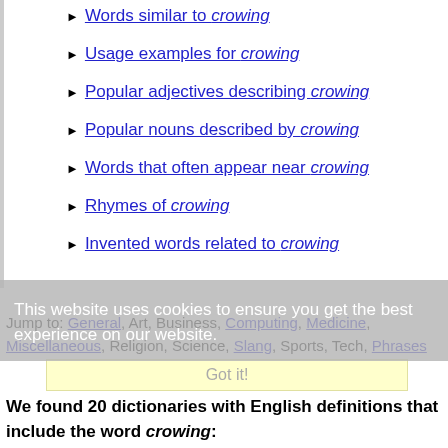▶ Words similar to crowing
▶ Usage examples for crowing
▶ Popular adjectives describing crowing
▶ Popular nouns described by crowing
▶ Words that often appear near crowing
▶ Rhymes of crowing
▶ Invented words related to crowing
This website uses cookies to ensure you get the best experience on our website.
Jump to: General, Art, Business, Computing, Medicine, Miscellaneous, Religion, Science, Slang, Sports, Tech, Phrases
Got it!
We found 20 dictionaries with English definitions that include the word crowing: Click on the first link on a line below to go directly to a page where "crowing" is defined.